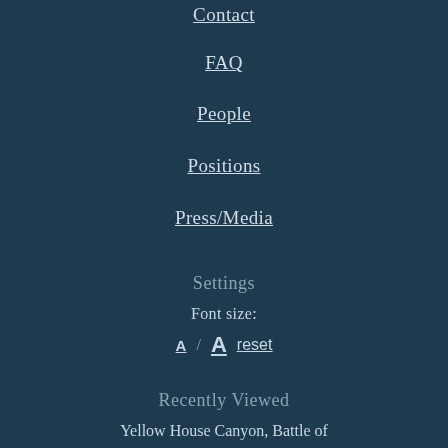Contact
FAQ
People
Positions
Press/Media
Settings
Font size:
A / A   reset
Recently Viewed
Yellow House Canyon, Battle of